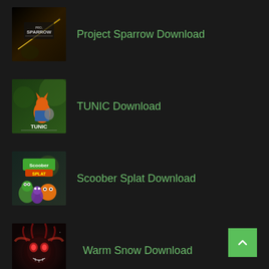Project Sparrow Download
TUNIC Download
Scoober Splat Download
Warm Snow Download